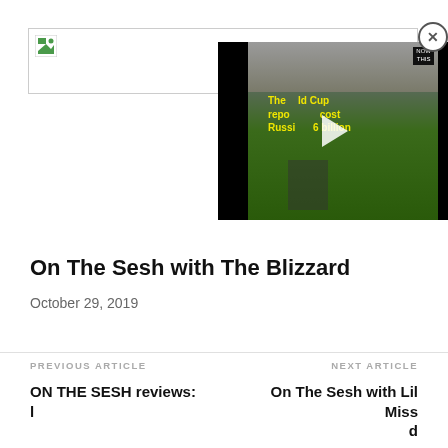[Figure (screenshot): Ad banner placeholder with broken image icon and border]
[Figure (screenshot): Embedded video player showing World Cup report about Russia's cost, with yellow text overlay and play button. Video title: 'The World Cup reportedly cost Russia [X].6 billion'. Logos in top right corner.]
On The Sesh with The Blizzard
October 29, 2019
PREVIOUS ARTICLE
NEXT ARTICLE
ON THE SESH reviews: [text continues below]
On The Sesh with Lil Miss [text continues below]